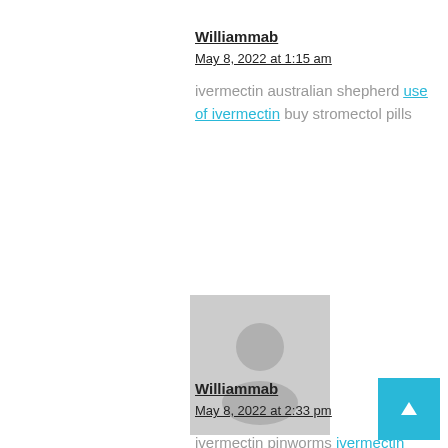Williammab
May 8, 2022 at 1:15 am
ivermectin australian shepherd use of ivermectin buy stromectol pills
[Figure (photo): Default grey avatar placeholder image showing a silhouette of a person]
Williammab
May 8, 2022 at 2:33 pm
ivermectin pinworms ivermectin